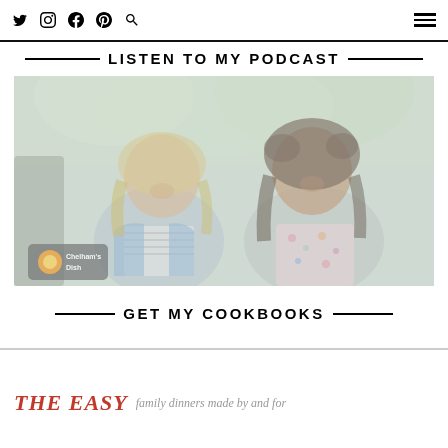Twitter Instagram Facebook Pinterest Search | Hamburger menu
LISTEN TO MY PODCAST
[Figure (photo): Two smiling women sitting outdoors, one with long blonde wavy hair wearing a striped shirt and denim jacket, and one with long dark curly hair wearing a floral blouse. A podcast logo overlay reads 'Chelham's Dish' with an orange/sun icon.]
GET MY COOKBOOKS
THE EASY  (partial text visible at bottom)